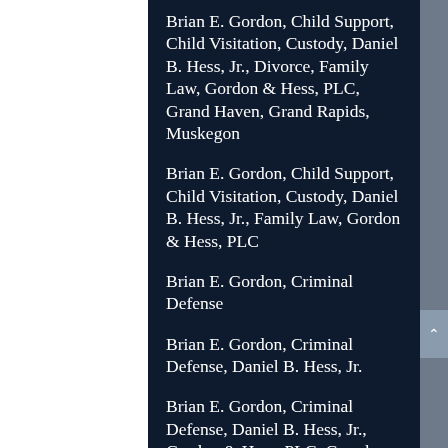Brian E. Gordon, Child Support, Child Visitation, Custody, Daniel B. Hess, Jr., Divorce, Family Law, Gordon & Hess, PLC, Grand Haven, Grand Rapids, Muskegon
Brian E. Gordon, Child Support, Child Visitation, Custody, Daniel B. Hess, Jr., Family Law, Gordon & Hess, PLC
Brian E. Gordon, Criminal Defense
Brian E. Gordon, Criminal Defense, Daniel B. Hess, Jr.
Brian E. Gordon, Criminal Defense, Daniel B. Hess, Jr., Gordon & Hess, PLC, Grand Haven, Grand Rapids, Kalamazoo, Muskegon
Brian E. Gordon, Criminal Defense, Daniel B. Hess, Jr., New